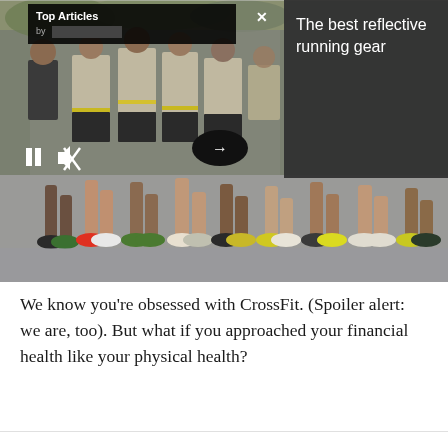[Figure (photo): Group of soldiers in Army t-shirts running together in formation, photo shows upper bodies in top portion and legs/feet in lower portion. Overlaid with a 'Top Articles' popup panel on the left, a dark gray panel on the right showing text 'The best reflective running gear', and playback controls (pause, mute) at the bottom left. A dark oval arrow button is visible in the center.]
We know you're obsessed with CrossFit. (Spoiler alert: we are, too). But what if you approached your financial health like your physical health?